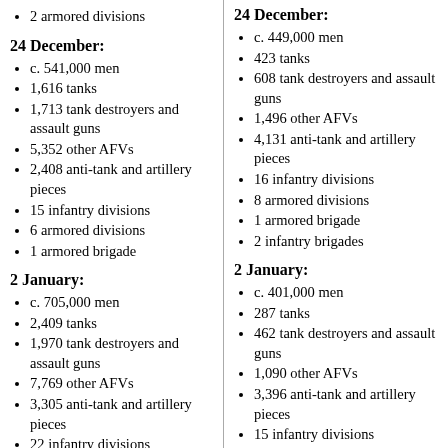2 armored divisions
24 December:
c. 541,000 men
1,616 tanks
1,713 tank destroyers and assault guns
5,352 other AFVs
2,408 anti-tank and artillery pieces
15 infantry divisions
6 armored divisions
1 armored brigade
2 January:
c. 705,000 men
2,409 tanks
1,970 tank destroyers and assault guns
7,769 other AFVs
3,305 anti-tank and artillery pieces
22 infantry divisions
8 armored divisions
24 December:
c. 449,000 men
423 tanks
608 tank destroyers and assault guns
1,496 other AFVs
4,131 anti-tank and artillery pieces
16 infantry divisions
8 armored divisions
1 armored brigade
2 infantry brigades
2 January:
c. 401,000 men
287 tanks
462 tank destroyers and assault guns
1,090 other AFVs
3,396 anti-tank and artillery pieces
15 infantry divisions
8 armored divisions